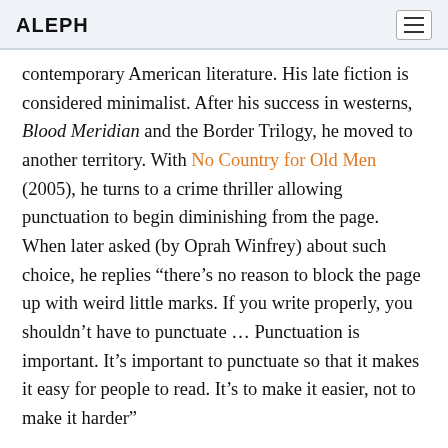ALEPH
contemporary American literature. His late fiction is considered minimalist. After his success in westerns, Blood Meridian and the Border Trilogy, he moved to another territory. With No Country for Old Men (2005), he turns to a crime thriller allowing punctuation to begin diminishing from the page. When later asked (by Oprah Winfrey) about such choice, he replies “there’s no reason to block the page up with weird little marks. If you write properly, you shouldn’t have to punctuate … Punctuation is important. It’s important to punctuate so that it makes it easy for people to read. It’s to make it easier, not to make it harder”